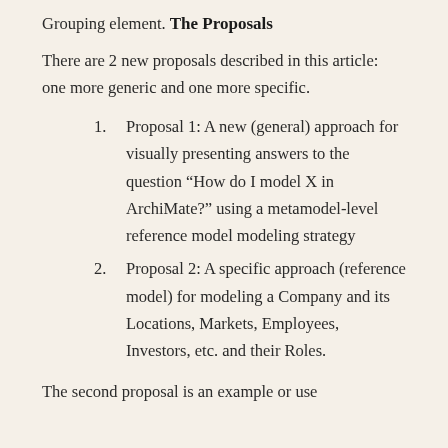Grouping element.
The Proposals
There are 2 new proposals described in this article: one more generic and one more specific.
Proposal 1: A new (general) approach for visually presenting answers to the question “How do I model X in ArchiMate?” using a metamodel-level reference model modeling strategy
Proposal 2: A specific approach (reference model) for modeling a Company and its Locations, Markets, Employees, Investors, etc. and their Roles.
The second proposal is an example or use